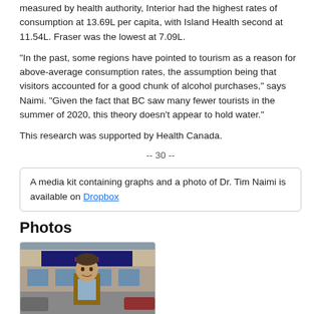measured by health authority, Interior had the highest rates of consumption at 13.69L per capita, with Island Health second at 11.54L. Fraser was the lowest at 7.09L.
“In the past, some regions have pointed to tourism as a reason for above-average consumption rates, the assumption being that visitors accounted for a good chunk of alcohol purchases,” says Naimi. “Given the fact that BC saw many fewer tourists in the summer of 2020, this theory doesn’t appear to hold water.”
This research was supported by Health Canada.
-- 30 --
A media kit containing graphs and a photo of Dr. Tim Naimi is available on Dropbox
Photos
[Figure (photo): Photo of Dr. Tim Naimi standing outdoors in front of a liquor store, wearing a brown blazer and light blue shirt.]
Media contacts